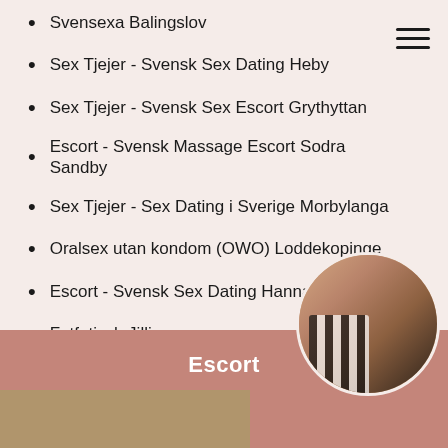Svensexa Balingslov
Sex Tjejer - Svensk Sex Dating Heby
Sex Tjejer - Svensk Sex Escort Grythyttan
Escort - Svensk Massage Escort Sodra Sandby
Sex Tjejer - Sex Dating i Sverige Morbylanga
Oralsex utan kondom (OWO) Loddekopinge
Escort - Svensk Sex Dating Hannah
Fotfetisch Jillian
Escort - Svensk Sex Dating Monica
Foto Inga
Har flickvän Abigail
Sex Tjejer - Annonser i Sverige Kay...
Escort
[Figure (photo): Circular cropped photo of a person, partially obscured by page edge]